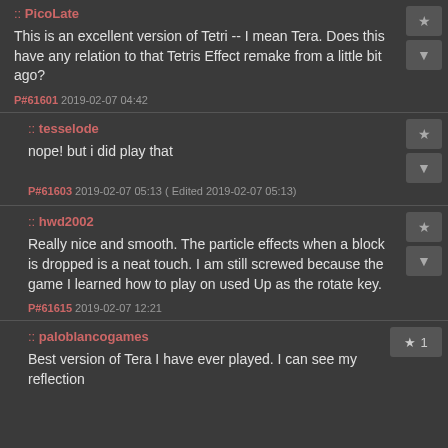:: PicoLate
This is an excellent version of Tetri -- I mean Tera. Does this have any relation to that Tetris Effect remake from a little bit ago?
P#61601 2019-02-07 04:42
:: tesselode
nope! but i did play that
P#61603 2019-02-07 05:13 ( Edited 2019-02-07 05:13)
:: hwd2002
Really nice and smooth. The particle effects when a block is dropped is a neat touch. I am still screwed because the game I learned how to play on used Up as the rotate key.
P#61615 2019-02-07 12:21
:: paloblancogames
Best version of Tera I have ever played. I can see my reflection